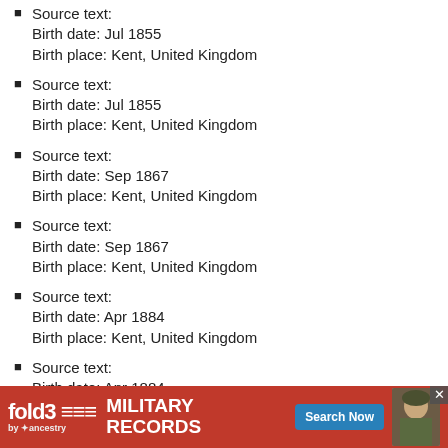Source text:
Birth date: Jul 1855
Birth place: Kent, United Kingdom
Source text:
Birth date: Jul 1855
Birth place: Kent, United Kingdom
Source text:
Birth date: Sep 1867
Birth place: Kent, United Kingdom
Source text:
Birth date: Sep 1867
Birth place: Kent, United Kingdom
Source text:
Birth date: Apr 1884
Birth place: Kent, United Kingdom
Source text:
Birth date: Apr 1884
Birth place: Kent, United Kingdom
Source text:
Birth date: Jun 1865
Birth place: Kent, United Kingdom
Source text:
Birth date: Jun 1885
(partial)
[Figure (infographic): fold3 by Ancestry advertisement banner for Military Records with Search Now button and soldier photo]